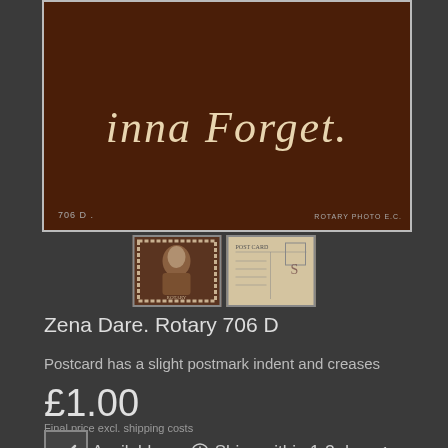[Figure (photo): Vintage postcard image with dark brown background showing icicles at top and decorative script text reading 'inna forget.' with postcard reference 706 D]
[Figure (photo): Two thumbnail images of the postcard: front showing a woman portrait, back showing postcard reverse with handwriting]
Zena Dare. Rotary 706 D
Postcard has a slight postmark indent and creases
£1.00
Final price excl. shipping costs
Available   Ships within 1-3 days¹